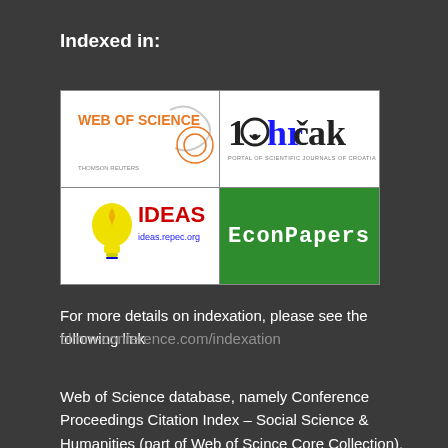Indexed in:
[Figure (logo): Four logos arranged in a 2x2 grid: Web of Science (Thomson Reuters) top-left, Hrčak (Portal of Scientific Journals of Croatia) top-right, IDEAS repec.org bottom-left, EconPapers bottom-right]
For more details on indexation, please see the following link
blmm-conference.com/indexation
Web of Science database, namely Conference Proceedings Citation Index – Social Science & Humanities (part of Web of Scince Core Collection), EBSCO – Business Source Ultimate